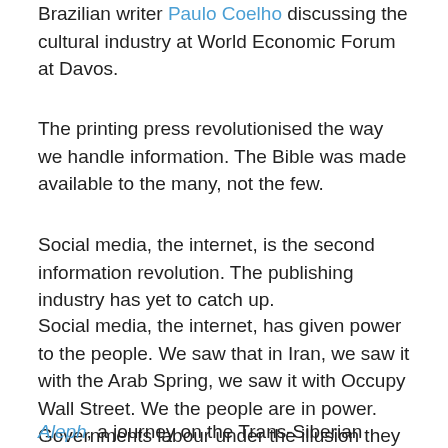Brazilian writer Paulo Coelho discussing the cultural industry at World Economic Forum at Davos.
The printing press revolutionised the way we handle information. The Bible was made available to the many, not the few.
Social media, the internet, is the second information revolution. The publishing industry has yet to catch up.
Social media, the internet, has given power to the people. We saw that in Iran, we saw it with the Arab Spring, we saw it with Occupy Wall Street. We the people are in power. Governments labour under the illusion they are in power.
Aleph, a journey on the Trans-Siberian Railway, No1 in all countries bar one, the UK. Not No1 or at least not well